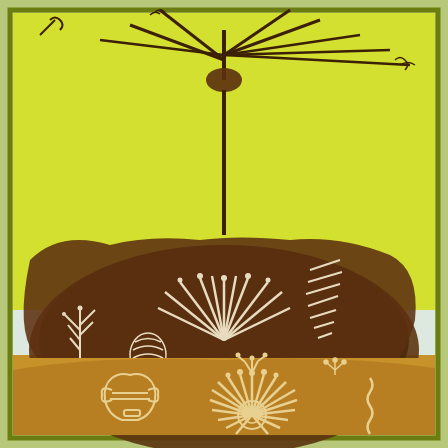[Figure (illustration): Artistic print/lithograph showing botanical botanical motifs on two-tone background. Upper portion has bright yellow-green background with dark brown ink showing radiating plant stems/leaves from top center, and a large brown painted mass in the middle containing white resist-print botanical designs including a radial flower/plant, small flowering plants, leaf forms, and parallel line textures. Lower portion transitions to pale blue-white then shows a large warm brown painted area with white resist-print designs including a large radial sunflower-like bloom in the center, a stylized vase/urn on the left, and a squiggly line on the right. The entire image is framed with an olive-green border.]